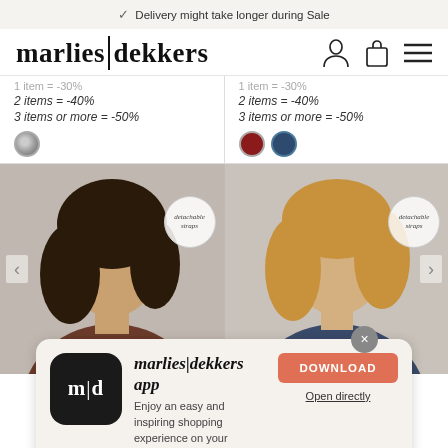✓ Delivery might take longer during Sale
marlies|dekkers
1 item = -30%
2 items = -40%
3 items or more = -50%
1 item = -30%
2 items = -40%
3 items or more = -50%
[Figure (photo): Two fashion models wearing lingerie from marlies|dekkers, each with detachable straps badges overlaid]
marlies|dekkers app
Enjoy an easy and inspiring shopping experience on your iPhone
★★★★½ 3125
DOWNLOAD
Open directly